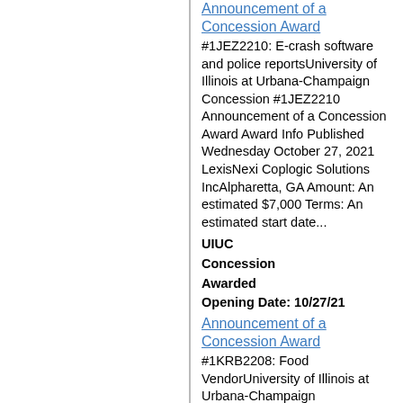Announcement of a Concession Award
#1JEZ2210: E-crash software and police reportsUniversity of Illinois at Urbana-Champaign Concession #1JEZ2210 Announcement of a Concession Award Award Info Published Wednesday October 27, 2021 LexisNexi Coplogic Solutions IncAlpharetta, GA Amount: An estimated $7,000 Terms: An estimated start date...
UIUC Concession Awarded Opening Date: 10/27/21
Announcement of a Concession Award
#1KRB2208: Food VendorUniversity of Illinois at Urbana-Champaign Concession #1KRB2208 Announcement of a Concession Award Award Info Published Thursday September 2, 2021 Nelson's